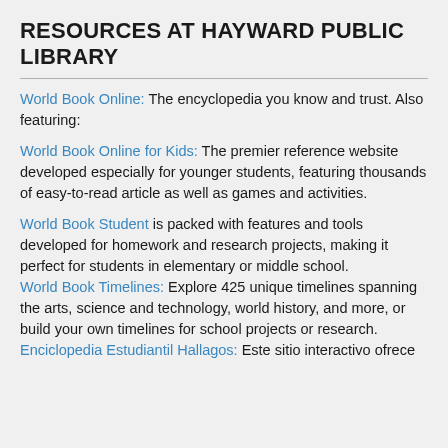RESOURCES AT HAYWARD PUBLIC LIBRARY
World Book Online: The encyclopedia you know and trust. Also featuring:
World Book Online for Kids: The premier reference website developed especially for younger students, featuring thousands of easy-to-read article as well as games and activities.
World Book Student is packed with features and tools developed for homework and research projects, making it perfect for students in elementary or middle school.
World Book Timelines: Explore 425 unique timelines spanning the arts, science and technology, world history, and more, or build your own timelines for school projects or research.
Enciclopedia Estudiantil Hallagos: Este sitio interactivo ofrece